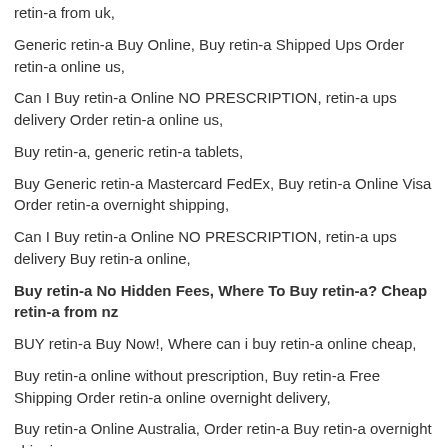retin-a from uk,
Generic retin-a Buy Online, Buy retin-a Shipped Ups Order retin-a online us,
Can I Buy retin-a Online NO PRESCRIPTION, retin-a ups delivery Order retin-a online us,
Buy retin-a, generic retin-a tablets,
Buy Generic retin-a Mastercard FedEx, Buy retin-a Online Visa Order retin-a overnight shipping,
Can I Buy retin-a Online NO PRESCRIPTION, retin-a ups delivery Buy retin-a online,
Buy retin-a No Hidden Fees, Where To Buy retin-a? Cheap retin-a from nz
BUY retin-a Buy Now!, Where can i buy retin-a online cheap,
Buy retin-a online without prescription, Buy retin-a Free Shipping Order retin-a online overnight delivery,
Buy retin-a Online Australia, Order retin-a Buy retin-a overnight shipping,